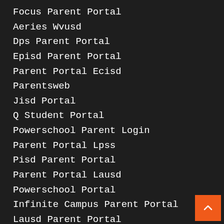Focus Parent Portal
Aeries Wvusd
Dps Parent Portal
Episd Parent Portal
Parent Portal Ecisd
Parentsweb
Jisd Portal
Q Student Portal
Powerschool Parent Login
Parent Portal Lpss
Pisd Parent Portal
Parent Portal Lausd
Powerschool Portal
Infinite Campus Parent Portal
Lausd Parent Portal
Infinite Campus Portal
K12 Parent Portal